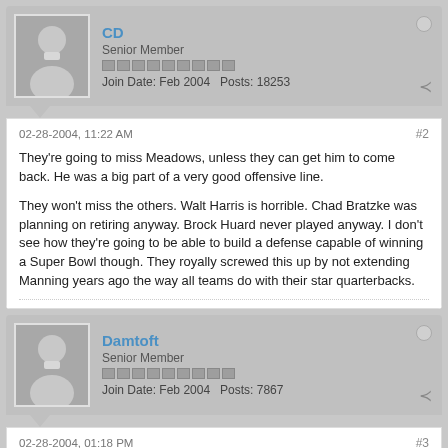CD
Senior Member
Join Date: Feb 2004   Posts: 18253
02-28-2004, 11:22 AM
#2
They're going to miss Meadows, unless they can get him to come back. He was a big part of a very good offensive line.

They won't miss the others. Walt Harris is horrible. Chad Bratzke was planning on retiring anyway. Brock Huard never played anyway. I don't see how they're going to be able to build a defense capable of winning a Super Bowl though. They royally screwed this up by not extending Manning years ago the way all teams do with their star quarterbacks.
Damtoft
Senior Member
Join Date: Feb 2004   Posts: 7867
02-28-2004, 01:18 PM
#3